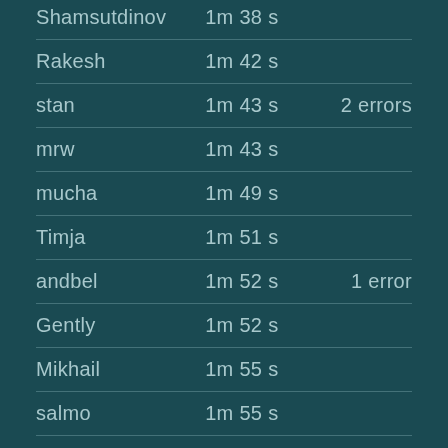| Name | Time | Errors |
| --- | --- | --- |
| Shamsutdinov | 1m 38 s |  |
| Rakesh | 1m 42 s |  |
| stan | 1m 43 s | 2 errors |
| mrw | 1m 43 s |  |
| mucha | 1m 49 s |  |
| Timja | 1m 51 s |  |
| andbel | 1m 52 s | 1 error |
| Gently | 1m 52 s |  |
| Mikhail | 1m 55 s |  |
| salmo | 1m 55 s |  |